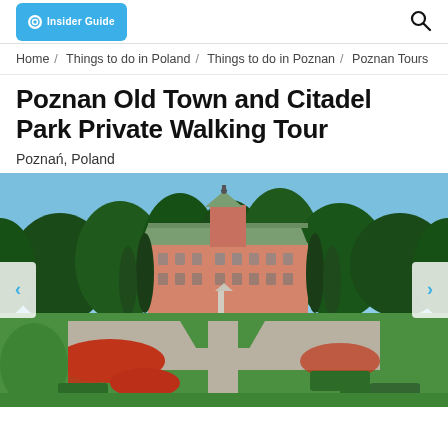Insider Guide [logo] [search icon]
Home / Things to do in Poland / Things to do in Poznan / Poznan Tours
Poznan Old Town and Citadel Park Private Walking Tour
Poznań, Poland
[Figure (photo): Outdoor garden photograph showing a formal garden with red flower beds, trimmed hedges, gravel paths, tall trees, and a large baroque pink palace building with a green copper roof in the background under a blue sky.]